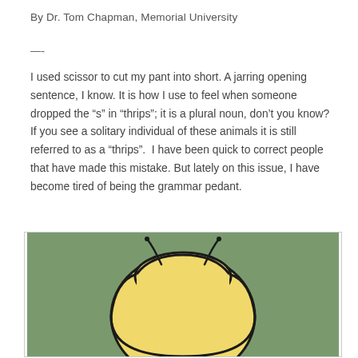By Dr. Tom Chapman, Memorial University
—-
I used scissor to cut my pant into short. A jarring opening sentence, I know. It is how I use to feel when someone dropped the “s” in “thrips”; it is a plural noun, don’t you know? If you see a solitary individual of these animals it is still referred to as a “thrips”.  I have been quick to correct people that have made this mistake. But lately on this issue, I have become tired of being the grammar pedant.
[Figure (illustration): Cartoon illustration of a thrips insect, shown as a rounded yellow-green body shape with small antennae on top, against a sage green background.]